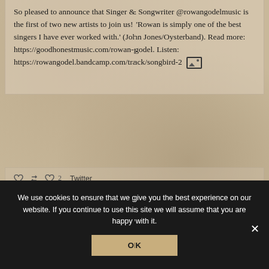So pleased to announce that Singer & Songwriter @rowangodelmusic is the first of two new artists to join us! 'Rowan is simply one of the best singers I have ever worked with.' (John Jones/Oysterband). Read more: https://goodhonestmusic.com/rowan-godel. Listen: https://rowangodel.bandcamp.com/track/songbird-2 [image icon]
Twitter
We use cookies to ensure that we give you the best experience on our website. If you continue to use this site we will assume that you are happy with it.
OK